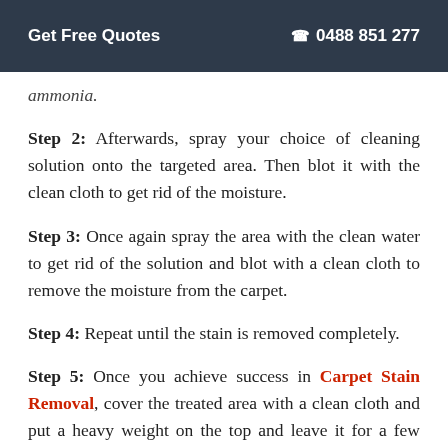Get Free Quotes  ☎ 0488 851 277
ammonia.
Step 2: Afterwards, spray your choice of cleaning solution onto the targeted area. Then blot it with the clean cloth to get rid of the moisture.
Step 3: Once again spray the area with the clean water to get rid of the solution and blot with a clean cloth to remove the moisture from the carpet.
Step 4: Repeat until the stain is removed completely.
Step 5: Once you achieve success in Carpet Stain Removal, cover the treated area with a clean cloth and put a heavy weight on the top and leave it for a few hours, so all the remaining moisture gets absorbed.
Step 6: Remove the weight and let the carpet soak the fresh air...